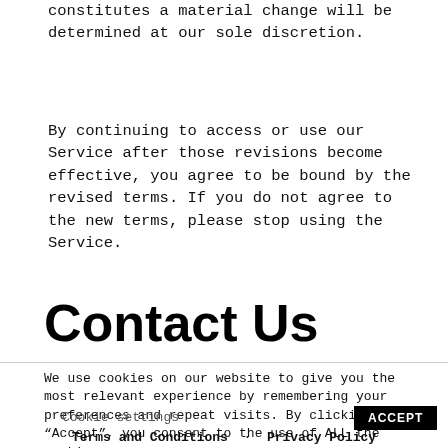constitutes a material change will be determined at our sole discretion.
By continuing to access or use our Service after those revisions become effective, you agree to be bound by the revised terms. If you do not agree to the new terms, please stop using the Service.
Contact Us
We use cookies on our website to give you the most relevant experience by remembering your preferences and repeat visits. By clicking “Accept”, you consent to the use of ALL the cookies.
Cookie settings
ACCEPT
Terms and Conditions · Privacy Policy